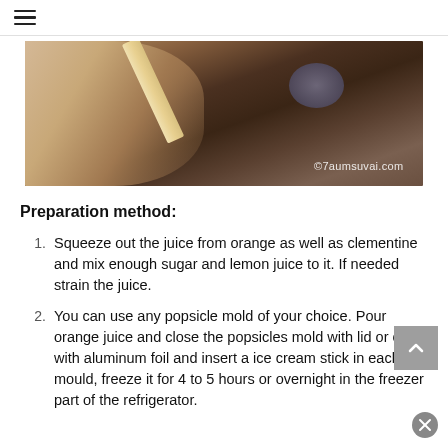≡
[Figure (photo): Photo of a popsicle/ice cream being held by hand over a dark plate, with watermark ©7aumsuvai.com]
Preparation method:
Squeeze out the juice from orange as well as clementine and mix enough sugar and lemon juice to it. If needed strain the juice.
You can use any popsicle mold of your choice. Pour orange juice and close the popsicles mold with lid or cover with aluminum foil and insert a ice cream stick in each mould, freeze it for 4 to 5 hours or overnight in the freezer part of the refrigerator.